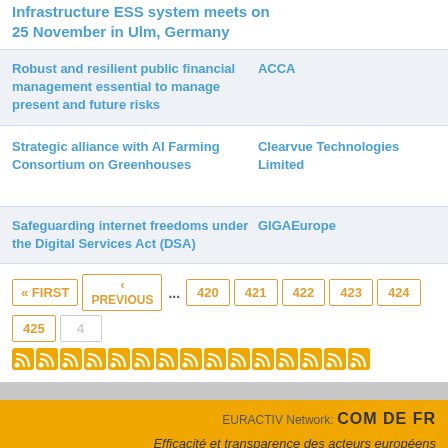Infrastructure ESS system meets on 25 November in Ulm, Germany
Robust and resilient public financial management essential to manage present and future risks | ACCA
Strategic alliance with AI Farming Consortium on Greenhouses | Clearvue Technologies Limited
Safeguarding internet freedoms under the Digital Services Act (DSA) | GIGAEurope
« FIRST  ‹ PREVIOUS  ...  420  421  422  423  424  425
EURACTIV Network: COM DE FR
Efficacité et transparence des acteurs européens